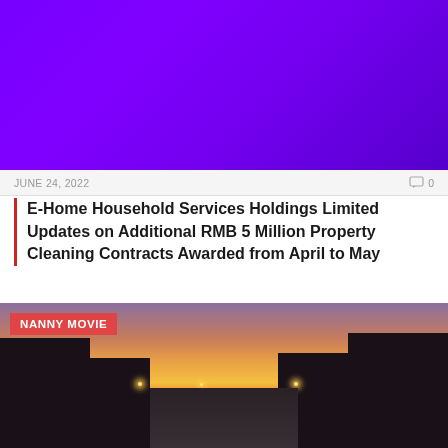[Figure (photo): Purple/violet gradient banner image at the top of the page]
JUNE 24, 2022
0
E-Home Household Services Holdings Limited Updates on Additional RMB 5 Million Property Cleaning Contracts Awarded from April to May
FUZHOU, China, June 24, 2022 (GLOBE NEWSWIRE) — E-Home Household Service Holdings Limited (Nasdaq: EJH)...
[Figure (photo): City street scene at sunset/dusk with pink and orange sky, street lights on, buildings on both sides. A red badge labeled 'NANNY MOVIE' overlays the top-left corner.]